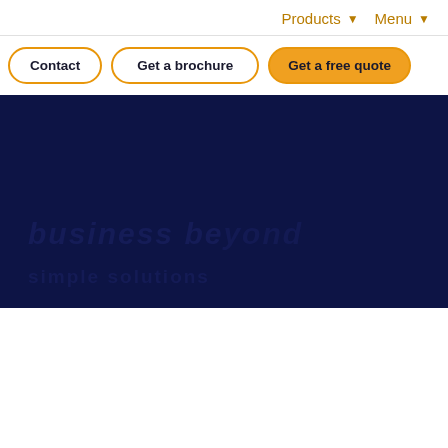Products ▾   Menu ▾
Contact | Get a brochure | Get a free quote
[Figure (screenshot): Dark navy blue hero banner section with faint large text overlay showing what appears to be a headline and subtitle in a darker tone against the navy background.]